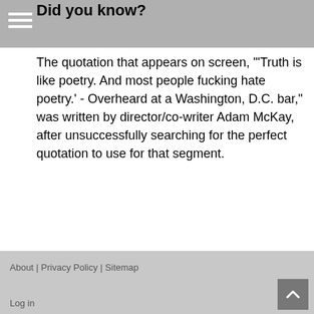Did you know?
The quotation that appears on screen, "'Truth is like poetry. And most people fucking hate poetry.' - Overheard at a Washington, D.C. bar," was written by director/co-writer Adam McKay, after unsuccessfully searching for the perfect quotation to use for that segment.
About | Privacy Policy | Sitemap
Log in